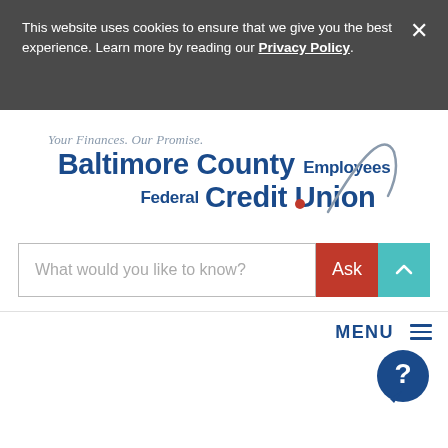This website uses cookies to ensure that we give you the best experience. Learn more by reading our Privacy Policy.
[Figure (logo): Baltimore County Employees Federal Credit Union logo with tagline 'Your Finances. Our Promise.' and blue arc graphic]
What would you like to know?
Ask
MENU